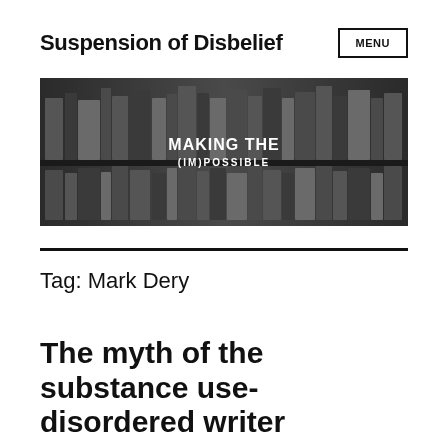Suspension of Disbelief
[Figure (illustration): Black and white photo of bookshelves filled with old books, with white bold text overlay reading 'MAKING THE (IM)POSSIBLE']
Tag: Mark Dery
The myth of the substance use-disordered writer